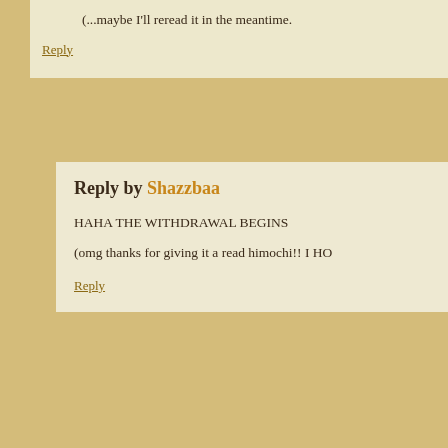(...maybe I'll reread it in the meantime.
Reply
Reply by Shazzbaa
HAHA THE WITHDRAWAL BEGINS
(omg thanks for giving it a read himochi!! I HO
Reply
Name
Website (optional)
Comment